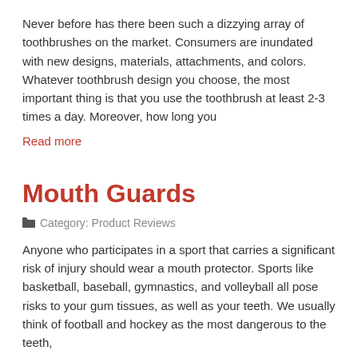Never before has there been such a dizzying array of toothbrushes on the market. Consumers are inundated with new designs, materials, attachments, and colors. Whatever toothbrush design you choose, the most important thing is that you use the toothbrush at least 2-3 times a day. Moreover, how long you
Read more
Mouth Guards
Category: Product Reviews
Anyone who participates in a sport that carries a significant risk of injury should wear a mouth protector. Sports like basketball, baseball, gymnastics, and volleyball all pose risks to your gum tissues, as well as your teeth. We usually think of football and hockey as the most dangerous to the teeth,
Read more